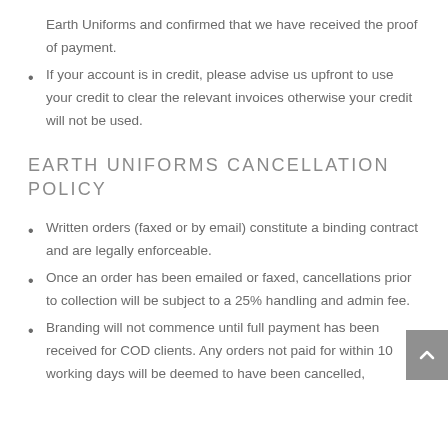Earth Uniforms and confirmed that we have received the proof of payment.
If your account is in credit, please advise us upfront to use your credit to clear the relevant invoices otherwise your credit will not be used.
EARTH UNIFORMS CANCELLATION POLICY
Written orders (faxed or by email) constitute a binding contract and are legally enforceable.
Once an order has been emailed or faxed, cancellations prior to collection will be subject to a 25% handling and admin fee.
Branding will not commence until full payment has been received for COD clients. Any orders not paid for within 10 working days will be deemed to have been cancelled,